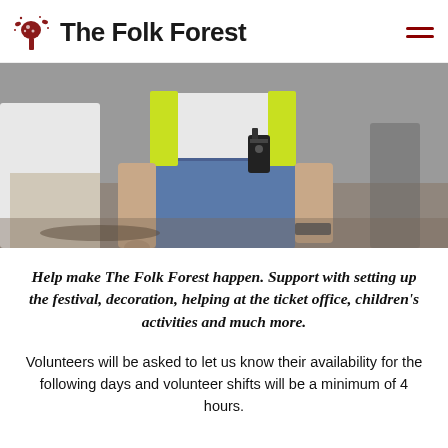The Folk Forest
[Figure (photo): A person wearing a yellow high-visibility vest and jeans with a walkie-talkie clipped to their belt, standing outdoors at a festival event.]
Help make The Folk Forest happen. Support with setting up the festival, decoration, helping at the ticket office, children's activities and much more.
Volunteers will be asked to let us know their availability for the following days and volunteer shifts will be a minimum of 4 hours.